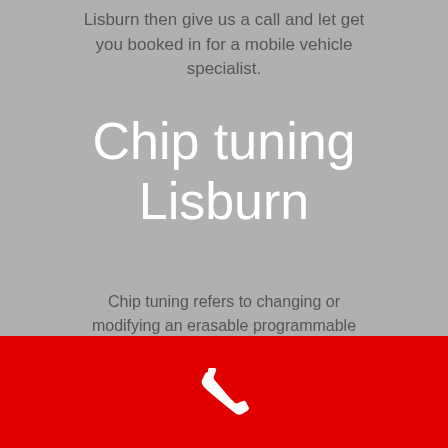Lisburn then give us a call and let get you booked in for a mobile vehicle specialist.
Chip tuning Lisburn
Chip tuning refers to changing or modifying an erasable programmable read only memory chip in an automobile's or other vehicle's electronic control unit (ECU) to achieve superior performance, whether it be more power
[Figure (illustration): White phone/call icon on red background bar at the bottom of the page]